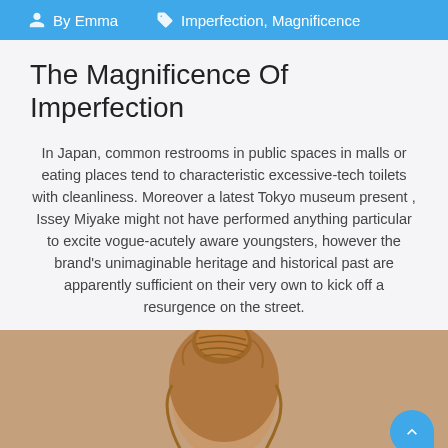By Emma   Imperfection, Magnificence
The Magnificence Of Imperfection
In Japan, common restrooms in public spaces in malls or eating places tend to characteristic excessive-tech toilets with cleanliness. Moreover a latest Tokyo museum present , Issey Miyake might not have performed anything particular to excite vogue-acutely aware youngsters, however the brand's unimaginable heritage and historical past are apparently sufficient on their very own to kick off a resurgence on the street.
[Figure (photo): Back of a person's head showing a messy bun hairstyle, photographed against a beige/tan background]